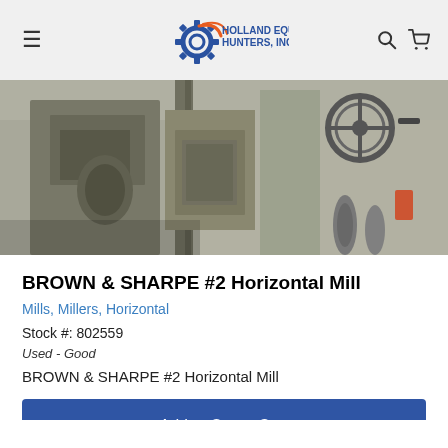Holland Equipment Hunters, Inc.
[Figure (photo): Close-up photo of a Brown & Sharpe #2 Horizontal Mill machine showing metallic components, handles, and industrial machinery parts against a concrete wall background.]
BROWN & SHARPE #2 Horizontal Mill
Mills, Millers, Horizontal
Stock #: 802559
Used - Good
BROWN & SHARPE #2 Horizontal Mill
Add to Quote Cart